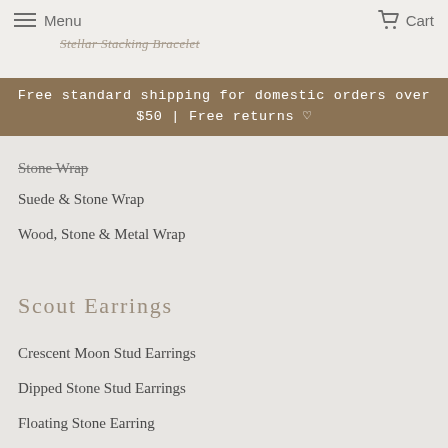Menu | Cart
Free standard shipping for domestic orders over $50 | Free returns ♡
Stone Wrap
Suede & Stone Wrap
Wood, Stone & Metal Wrap
Scout Earrings
Crescent Moon Stud Earrings
Dipped Stone Stud Earrings
Floating Stone Earring
Full Moon Stone Earring
Stone Balance Earring
Rectangle Stone Earring
Refined Earrings
Stone Dipped Teardrop Earrings